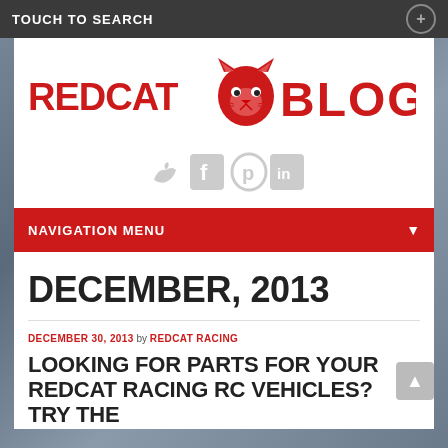TOUCH TO SEARCH
[Figure (logo): Redcat Blog logo in red with lynx/bobcat mascot graphic]
[Figure (infographic): Social media icons: Twitter, Facebook, Pinterest, LinkedIn in light gray]
NAVIGATION MENU
DECEMBER, 2013
DECEMBER 30, 2013 by REDCAT RACING
LOOKING FOR PARTS FOR YOUR REDCAT RACING RC VEHICLES? TRY THE